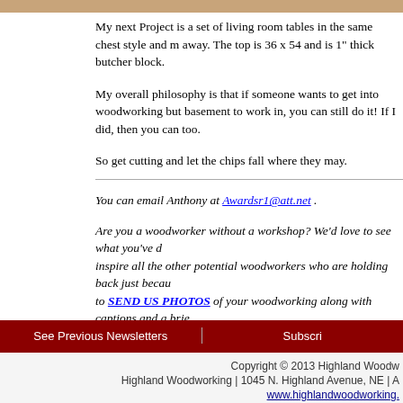My next Project is a set of living room tables in the same chest style and m... away. The top is 36 x 54 and is 1" thick butcher block.

My overall philosophy is that if someone wants to get into woodworking but... basement to work in, you can still do it! If I did, then you can too.

So get cutting and let the chips fall where they may.
You can email Anthony at Awardsr1@att.net .

Are you a woodworker without a workshop? We'd love to see what you've d... inspire all the other potential woodworkers who are holding back just becau... to SEND US PHOTOS of your woodworking along with captions and a brie... a $50 store credit if we show your work in a future issue!
Return to Wood News front
[Figure (other): Share button with plus icon]
See Previous Newsletters | Subscri...
Copyright © 2013 Highland Woodw...
Highland Woodworking | 1045 N. Highland Avenue, NE | A...
www.highlandwoodworking...
www.woodnewsonline.co...